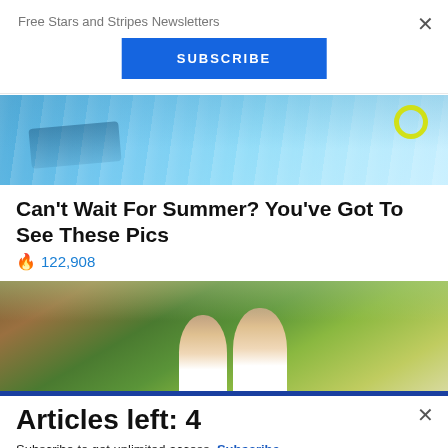Free Stars and Stripes Newsletters
SUBSCRIBE
[Figure (photo): Aerial or close-up view of a swimmer in a pool with blue water and splashing waves; a yellow circle visible at top right]
Can't Wait For Summer? You've Got To See These Pics
🔥 122,908
[Figure (photo): Two young men smiling outdoors with green trees and foliage in background]
Articles left: 4
Subscribe to get unlimited access  Subscribe
Already have an account?  Login here